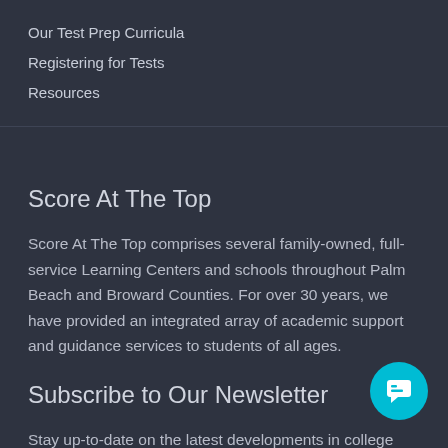Our Test Prep Curricula
Registering for Tests
Resources
Score At The Top
Score At The Top comprises several family-owned, full-service Learning Centers and schools throughout Palm Beach and Broward Counties. For over 30 years, we have provided an integrated array of academic support and guidance services to students of all ages.
Subscribe to Our Newsletter
Stay up-to-date on the latest developments in college entrance requirements and test prep through our free email